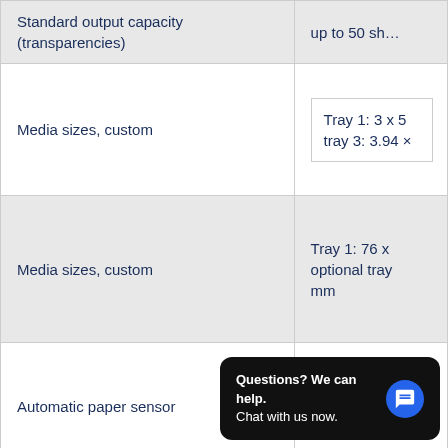| Feature | Value |
| --- | --- |
| Standard output capacity (transparencies) | up to 50 sh… |
| Media sizes, custom | Tray 1: 3 x 5
tray 3: 3.94 ×… |
| Media sizes, custom | Tray 1: 76 x
optional tray
mm |
| Automatic paper sensor | No |
| Paper trays, maximum |  |